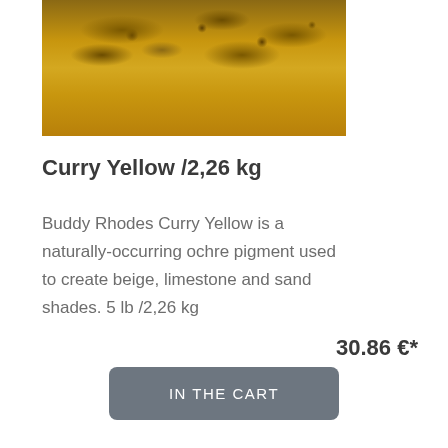[Figure (photo): Close-up photo of curry yellow ochre pigment powder on a golden yellow background, showing granular texture of the powder at the top.]
Curry Yellow /2,26 kg
Buddy Rhodes Curry Yellow is a naturally-occurring ochre pigment used to create beige, limestone and sand shades. 5 lb /2,26 kg
30.86 €*
IN THE CART